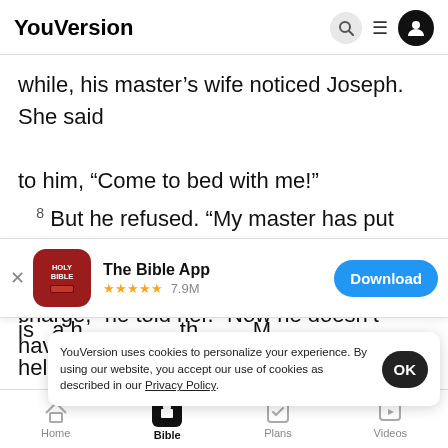YouVersion
while, his master's wife noticed Joseph. She said to him, “Come to bed with me!”
¸ But he refused. “My master has put me in charge,” he told her. “Now he doesn’t have to worry
[Figure (screenshot): The Bible App download banner with icon, star rating 7.9M, and Download button]
is a h… th… M…
held an…
his wife. So how could I do an evil thing like that?
YouVersion uses cookies to personalize your experience. By using our website, you accept our use of cookies as described in our Privacy Policy.
Home | Bible | Plans | Videos